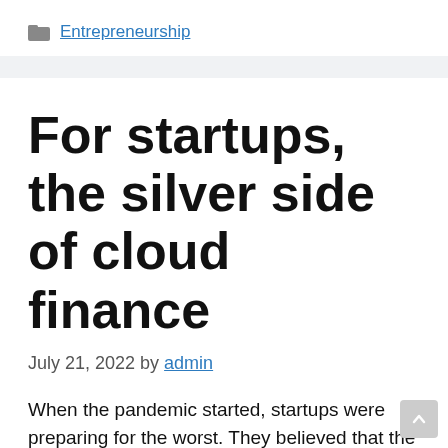Entrepreneurship
For startups, the silver side of cloud finance
July 21, 2022 by admin
When the pandemic started, startups were preparing for the worst. They believed that the markets would shrink and that funding would dry up. The opposite happened. The